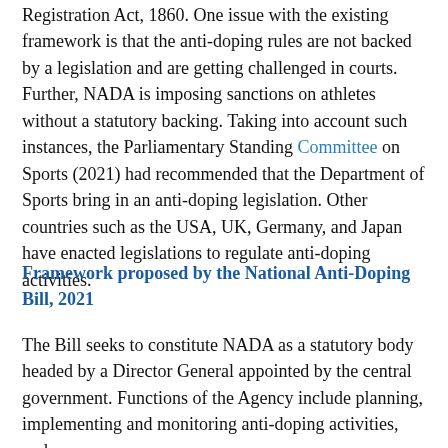Registration Act, 1860.  One issue with the existing framework is that the anti-doping rules are not backed by a legislation and are getting challenged in courts.  Further, NADA is imposing sanctions on athletes without a statutory backing.   Taking into account such instances, the Parliamentary Standing Committee on Sports (2021) had recommended that the Department of Sports bring in an anti-doping legislation.   Other countries such as the USA, UK, Germany, and Japan have enacted legislations to regulate anti-doping activities.
Framework proposed by the National Anti-Doping Bill, 2021
The Bill seeks to constitute NADA as a statutory body headed by a Director General appointed by the central government.  Functions of the Agency include planning, implementing and monitoring anti-doping activities, and